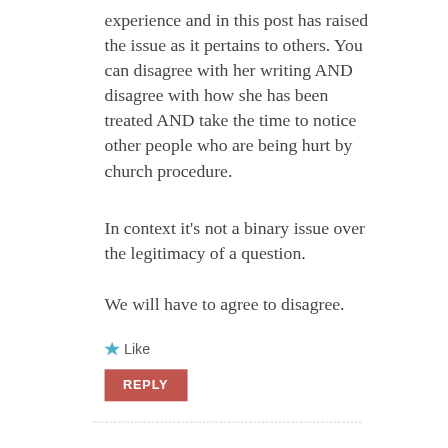experience and in this post has raised the issue as it pertains to others. You can disagree with her writing AND disagree with how she has been treated AND take the time to notice other people who are being hurt by church procedure.
In context it's not a binary issue over the legitimacy of a question.
We will have to agree to disagree.
★ Like
REPLY